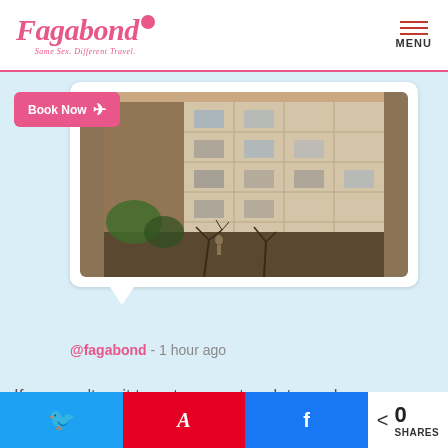Fagabond - Same Sex. Different Travel. | MENU
Book Now ✈
[Figure (photo): A photograph of a modern building exterior with tiled facade and bare trees in the foreground, taken in warm sepia tones]
@fagabond - 1 hour ago
If you can't wait to get our next update, make sure you follow us on Twitter for the latest tips, news
🐦 (Twitter share) | A (Pinterest share) | f (Facebook share) | < 0 SHARES